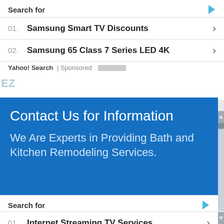Search for
01. Samsung Smart TV Discounts >
02. Samsung 65 Class 7 Series LED 4K >
Yahoo! Search | Sponsored
Contact Us for Information
We Are Experts in Providing Bath and Kitchen Remodeling Services.
[Figure (map): Street map showing roads and city blocks with yellow roads and green areas]
Search for
01. Internet Streaming TV Services >
02. Best 4K Smart TV Deals >
Yahoo! Search | Sponsored